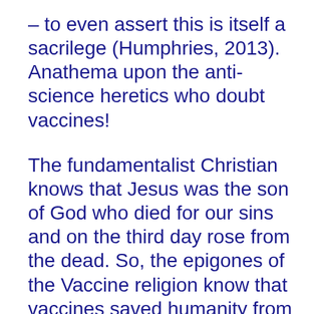– to even assert this is itself a sacrilege (Humphries, 2013). Anathema upon the anti-science heretics who doubt vaccines!
The fundamentalist Christian knows that Jesus was the son of God who died for our sins and on the third day rose from the dead. So, the epigones of the Vaccine religion know that vaccines saved humanity from epidemics that threatened the existence of humanity itself, that protected us from suffering, death, pestilence, chaos. The memory of this